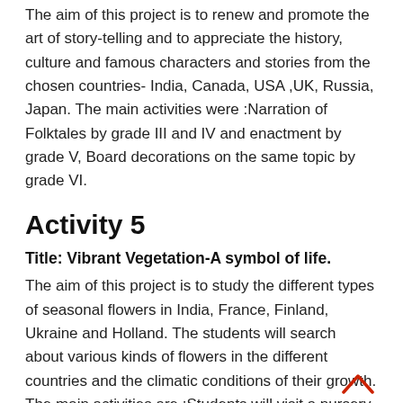The aim of this project is to renew and promote the art of story-telling and to appreciate the history, culture and famous characters and stories from the chosen countries- India, Canada, USA ,UK, Russia, Japan. The main activities were :Narration of Folktales by grade III and IV and enactment by grade V, Board decorations on the same topic by grade VI.
Activity 5
Title: Vibrant Vegetation-A symbol of life.
The aim of this project is to study the different types of seasonal flowers in India, France, Finland, Ukraine and Holland. The students will search about various kinds of flowers in the different countries and the climatic conditions of their growth. The main activities are :Students will visit a nursery, plantation of flower plant, Students of grade VII will visit school garden ,A slogan writing competition ,Students of grade VII will make paper flowers.